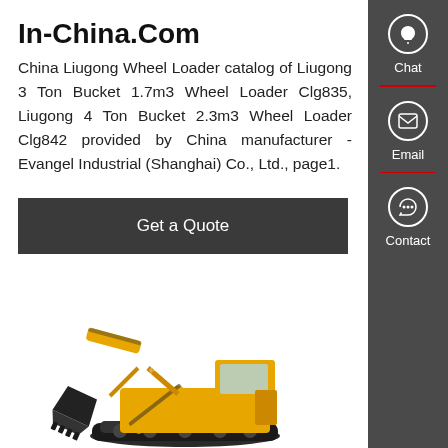In-China.Com
China Liugong Wheel Loader catalog of Liugong 3 Ton Bucket 1.7m3 Wheel Loader Clg835, Liugong 4 Ton Bucket 2.3m3 Wheel Loader Clg842 provided by China manufacturer - Evangel Industrial (Shanghai) Co., Ltd., page1.
Get a Quote
[Figure (photo): Yellow and black excavator/construction machine on white background]